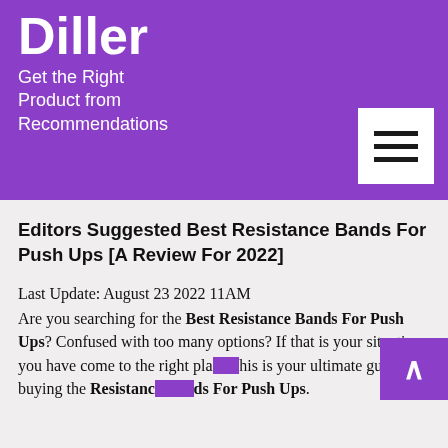Diller
Get the Right Product from Recommendations
Editors Suggested Best Resistance Bands For Push Ups [A Review For 2022]
Last Update: August 23 2022 11AM
Are you searching for the Best Resistance Bands For Push Ups? Confused with too many options? If that is your situation, you have come to the right place. this is your ultimate guide to buying the Resistance Bands For Push Ups.